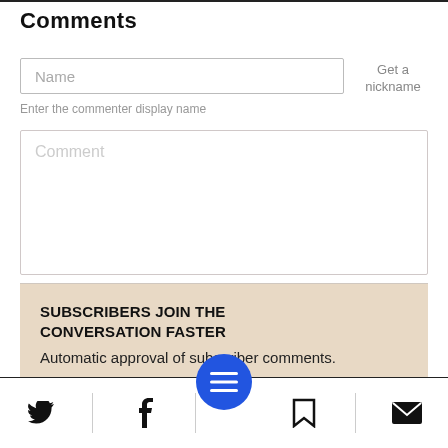Comments
Name
Get a nickname
Enter the commenter display name
Comment
SUBSCRIBERS JOIN THE CONVERSATION FASTER
Automatic approval of subscriber comments.
[Figure (infographic): Bottom navigation bar with Twitter bird icon, Facebook f icon, blue circle menu button with three horizontal lines, bookmark icon, and envelope/mail icon]